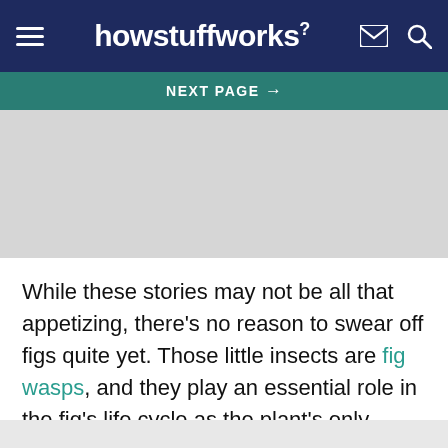howstuffworks
NEXT PAGE →
[Figure (other): Gray advertisement placeholder box]
While these stories may not be all that appetizing, there's no reason to swear off figs quite yet. Those little insects are fig wasps, and they play an essential role in the fig's life cycle as the plant's only pollinator. That means that for pollen from one fig plant to reach another plant, fig wasps must do all the heavy work to carry the pollen inside of a...